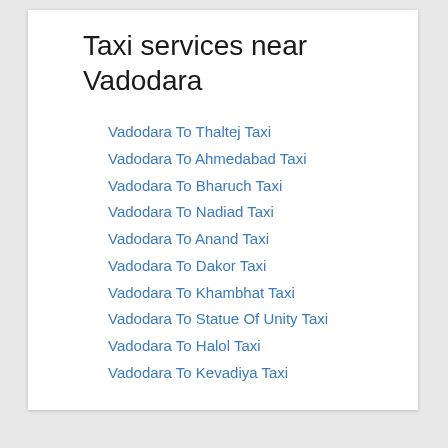Taxi services near Vadodara
Vadodara To Thaltej Taxi
Vadodara To Ahmedabad Taxi
Vadodara To Bharuch Taxi
Vadodara To Nadiad Taxi
Vadodara To Anand Taxi
Vadodara To Dakor Taxi
Vadodara To Khambhat Taxi
Vadodara To Statue Of Unity Taxi
Vadodara To Halol Taxi
Vadodara To Kevadiya Taxi